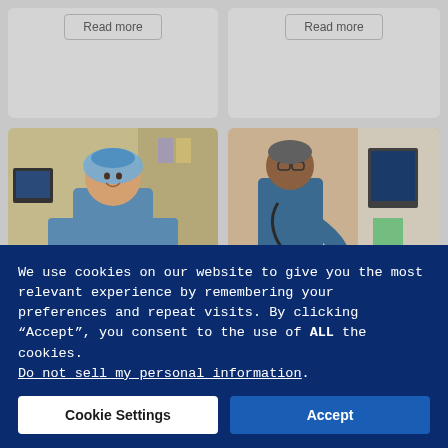[Figure (photo): Top-left card with Read more button, grey card background]
[Figure (photo): Top-right card with Read more button, grey card background]
[Figure (photo): Photo of a female nurse in blue scrubs and hair net working at a medical table in an operating/procedure room]
[Figure (photo): Photo of a male doctor in blue scrubs with stethoscope examining a young child patient lying in a hospital bed with medical equipment in background]
We use cookies on our website to give you the most relevant experience by remembering your preferences and repeat visits. By clicking “Accept”, you consent to the use of ALL the cookies. Do not sell my personal information.
Cookie Settings
Accept
[Figure (screenshot): Bottom-left card partial with Read more button]
[Figure (screenshot): Bottom-right card partial with Read more button]